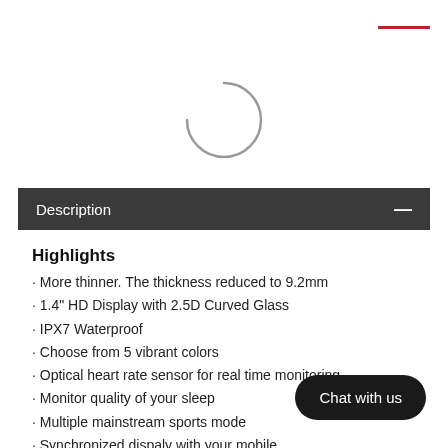[Figure (other): Loading spinner (partial circle arc) centered on page]
Description
Highlights
More thinner. The thickness reduced to 9.2mm
1.4" HD Display with 2.5D Curved Glass
IPX7 Waterproof
Choose from 5 vibrant colors
Optical heart rate sensor for real time monitoring
Monitor quality of your sleep
Multiple mainstream sports mode
Synchronized dispaly with your mobile incoming calls, while supporting SMS, WeChat etc